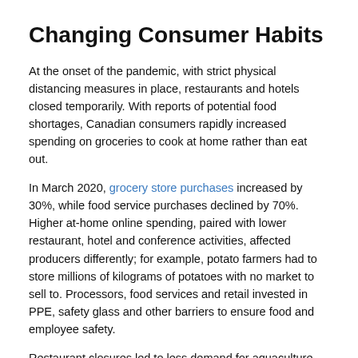Changing Consumer Habits
At the onset of the pandemic, with strict physical distancing measures in place, restaurants and hotels closed temporarily. With reports of potential food shortages, Canadian consumers rapidly increased spending on groceries to cook at home rather than eat out.
In March 2020, grocery store purchases increased by 30%, while food service purchases declined by 70%. Higher at-home online spending, paired with lower restaurant, hotel and conference activities, affected producers differently; for example, potato farmers had to store millions of kilograms of potatoes with no market to sell to. Processors, food services and retail invested in PPE, safety glass and other barriers to ensure food and employee safety.
Restaurant closures led to less demand for aquaculture products, yet more Canadians gardening at home led to more demand for certain horticulture products. Operations adjusted supply accordingly. Some farmers markets pivoted their business models and implemented online platforms to